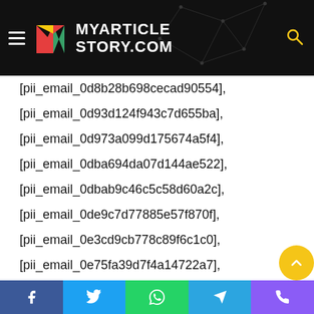MYARTICLE STORY.COM
[pii_email_0d8b28b698cecad90554],
[pii_email_0d93d124f943c7d655ba],
[pii_email_0d973a099d175674a5f4],
[pii_email_0dba694da07d144ae522],
[pii_email_0dbab9c46c5c58d60a2c],
[pii_email_0de9c7d77885e57f870f],
[pii_email_0e3cd9cb778c89f6c1c0],
[pii_email_0e75fa39d7f4a14722a7],
[pii_email_0e79498cc1d0ba4e9939],
[pii_email_0ebbd77fd700dde5d7f5],
[pii_email_0f0bec9b35a2193528da],
[pii_email_0f83a643ad264065ceea],
[pii_email_0f983c8f8207cc6e0f21],
[pii_email_0fb3fac562b06ea1d115],